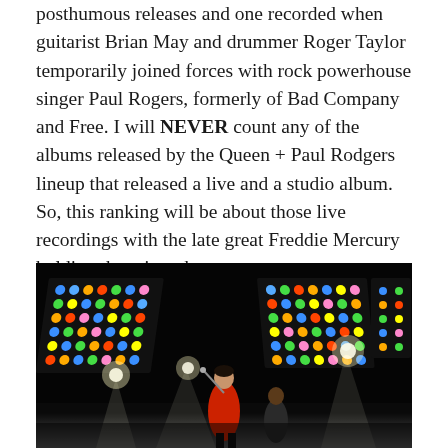posthumous releases and one recorded when guitarist Brian May and drummer Roger Taylor temporarily joined forces with rock powerhouse singer Paul Rogers, formerly of Bad Company and Free. I will NEVER count any of the albums released by the Queen + Paul Rodgers lineup that released a live and a studio album. So, this ranking will be about those live recordings with the late great Freddie Mercury holding the microphone.
[Figure (photo): Concert photograph showing a performer on stage (Freddie Mercury in red jacket) with large colorful LED light panels in the background displaying rainbow dot patterns, and bright stage lights. Dark background with dramatic lighting.]